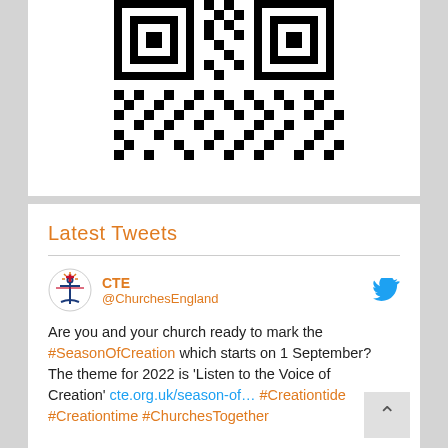[Figure (other): Partial QR code visible at top of card, black and white squares pattern]
Latest Tweets
CTE @ChurchesEngland
Are you and your church ready to mark the #SeasonOfCreation which starts on 1 September? The theme for 2022 is 'Listen to the Voice of Creation' cte.org.uk/season-of… #Creationtide #Creationtime #ChurchesTogether